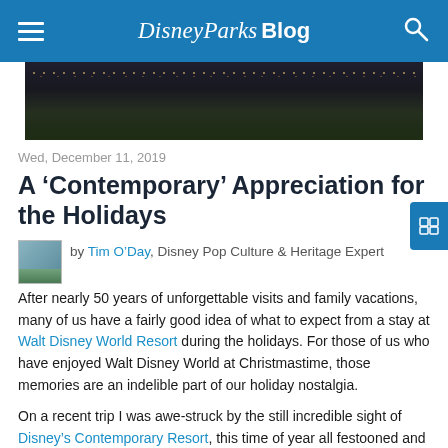Disney Parks Blog
[Figure (photo): Night aerial or wide shot of a large venue or park, dark sky with distant lights along the horizon, green ground cover visible]
Wed, December 11, 2019
A ‘Contemporary’ Appreciation for the Holidays
by Tim O’Day, Disney Pop Culture & Heritage Expert
After nearly 50 years of unforgettable visits and family vacations, many of us have a fairly good idea of what to expect from a stay at Walt Disney World Resort during the holidays. For those of us who have enjoyed Walt Disney World at Christmastime, those memories are an indelible part of our holiday nostalgia.
On a recent trip I was awe-struck by the still incredible sight of Disney’s Contemporary Resort, this time of year all festooned and bedecked for the holidays. As a young boy I